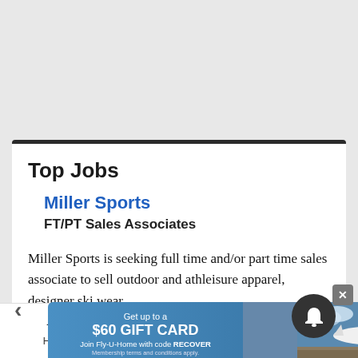Top Jobs
Miller Sports
FT/PT Sales Associates
Miller Sports is seeking full time and/or part time sales associate to sell outdoor and athleisure apparel, designer ski wear...
[Figure (screenshot): Advertisement banner for Fly-U-Home with blue background and airplane image. Text reads: Get up to a $60 GIFT CARD. Join Fly-U-Home with code RECOVER. Membership terms and conditions apply.]
Home   Trending   Sections